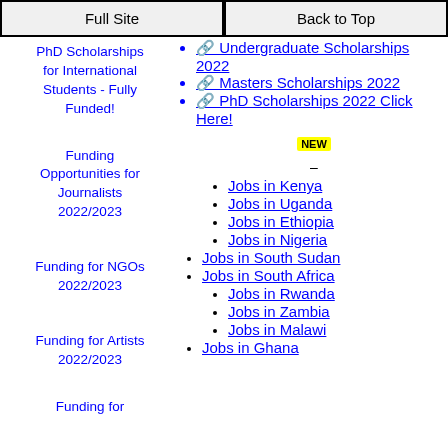Full Site | Back to Top
PhD Scholarships for International Students - Fully Funded!
🔗 Undergraduate Scholarships 2022
🔗 Masters Scholarships 2022
🔗 PhD Scholarships 2022 Click Here!
Funding Opportunities for Journalists 2022/2023
Funding for NGOs 2022/2023
Funding for Artists 2022/2023
Jobs in Kenya
Jobs in Uganda
Jobs in Ethiopia
Jobs in Nigeria
Jobs in South Sudan
Jobs in South Africa
Jobs in Rwanda
Jobs in Zambia
Jobs in Malawi
Jobs in Ghana